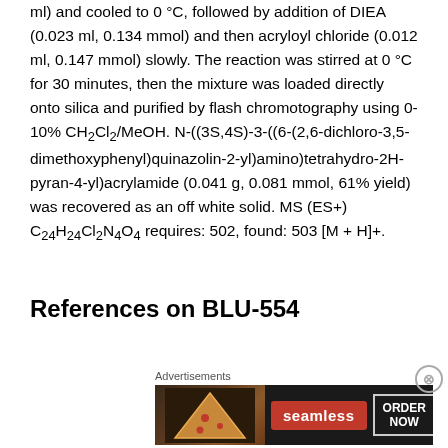ml) and cooled to 0 °C, followed by addition of DIEA (0.023 ml, 0.134 mmol) and then acryloyl chloride (0.012 ml, 0.147 mmol) slowly. The reaction was stirred at 0 °C for 30 minutes, then the mixture was loaded directly onto silica and purified by flash chromotography using 0-10% CH₂Cl₂/MeOH. N-((3S,4S)-3-((6-(2,6-dichloro-3,5-dimethoxyphenyl)quinazolin-2-yl)amino)tetrahydro-2H-pyran-4-yl)acrylamide (0.041 g, 0.081 mmol, 61% yield) was recovered as an off white solid. MS (ES+) C₂₄H₂₄Cl₂N₄O₄ requires: 502, found: 503 [M + H]+.
References on BLU-554
[Figure (other): Seamless food delivery advertisement banner showing pizza image, Seamless logo button, and ORDER NOW button]